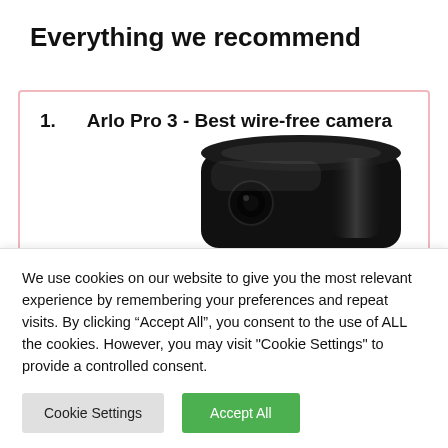Everything we recommend
1.    Arlo Pro 3 - Best wire-free camera
[Figure (photo): A black Arlo Pro 3 wire-free security camera viewed from an angle, showing its rounded rectangular body with glossy finish.]
We use cookies on our website to give you the most relevant experience by remembering your preferences and repeat visits. By clicking “Accept All”, you consent to the use of ALL the cookies. However, you may visit "Cookie Settings" to provide a controlled consent.